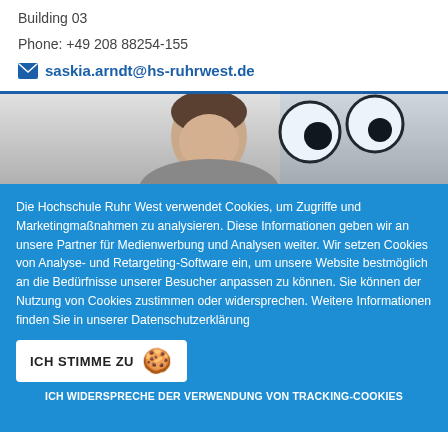Building 03
Phone: +49 208 88254-155
saskia.arndt@hs-ruhrwest.de
[Figure (photo): A person (man) with short hair against a light background, partially overlaid with cookie monster cartoon eyes graphic]
Die Hochschule Ruhr West verwendet Cookies, um Zugriffe und Marketingmaßnahmen zu analysieren. Diese Informationen geben wir an unsere Partner für Medienwerbung und Analysen weiter. Wir setzen Cookies von Analyse- und Retargeting-Software ein, um unsere Website bestmöglich an die Bedürfnisse unserer Besucher anpassen zu können. Sie können der Nutzung von Cookies zustimmen oder widersprechen. Weitere Informationen finden Sie in unserer Datenschutzerklärung
ICH STIMME ZU
ICH WIDERSPRECHE DER VERWENDUNG VON TRACKING-COOKIES